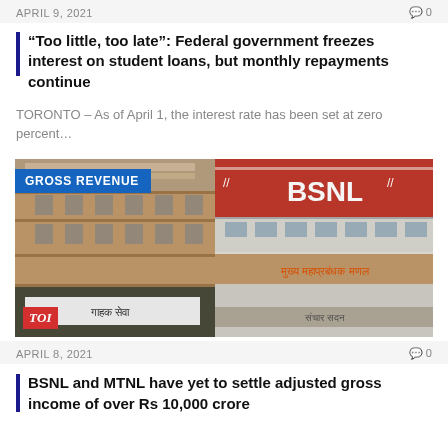APRIL 9, 2021   0
“Too little, too late”: Federal government freezes interest on student loans, but monthly repayments continue
TORONTO – As of April 1, the interest rate has been set at zero percent…
[Figure (photo): Photo of BSNL building exterior with 'GROSS REVENUE' label badge and TOI logo watermark in bottom-left corner]
APRIL 8, 2021   0
BSNL and MTNL have yet to settle adjusted gross income of over Rs 10,000 crore